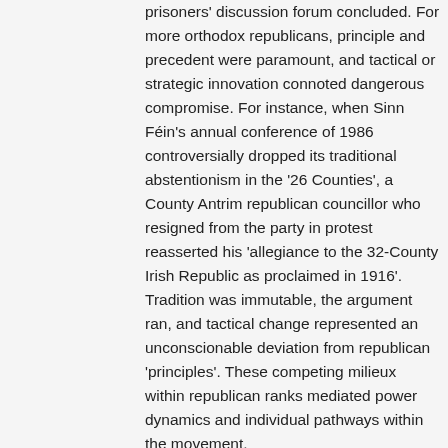prisoners' discussion forum concluded. For more orthodox republicans, principle and precedent were paramount, and tactical or strategic innovation connoted dangerous compromise. For instance, when Sinn Féin's annual conference of 1986 controversially dropped its traditional abstentionism in the '26 Counties', a County Antrim republican councillor who resigned from the party in protest reasserted his 'allegiance to the 32-County Irish Republic as proclaimed in 1916'. Tradition was immutable, the argument ran, and tactical change represented an unconscionable deviation from republican 'principles'. These competing milieux within republican ranks mediated power dynamics and individual pathways within the movement.
More than two decades have now passed since the agreement. Good Friday brought a momentary